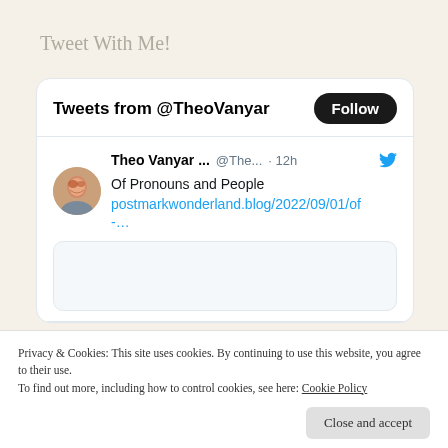Tweet With Me!
[Figure (screenshot): Twitter widget showing 'Tweets from @TheoVanyar' with a Follow button and a tweet by Theo Vanyar about 'Of Pronouns and People' linking to postmarkwonderland.blog/2022/09/01/of-...]
Privacy & Cookies: This site uses cookies. By continuing to use this website, you agree to their use.
To find out more, including how to control cookies, see here: Cookie Policy
Close and accept
Of Pronouns and People